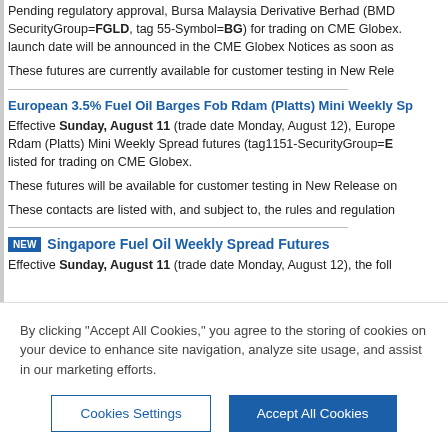Pending regulatory approval, Bursa Malaysia Derivative Berhad (BMD SecurityGroup=FGLD, tag 55-Symbol=BG) for trading on CME Globex. launch date will be announced in the CME Globex Notices as soon as
These futures are currently available for customer testing in New Rele
European 3.5% Fuel Oil Barges Fob Rdam (Platts) Mini Weekly Sp
Effective Sunday, August 11 (trade date Monday, August 12), European Rdam (Platts) Mini Weekly Spread futures (tag1151-SecurityGroup=E listed for trading on CME Globex.
These futures will be available for customer testing in New Release on
These contacts are listed with, and subject to, the rules and regulation
Singapore Fuel Oil Weekly Spread Futures
Effective Sunday, August 11 (trade date Monday, August 12), the foll
By clicking “Accept All Cookies,” you agree to the storing of cookies on your device to enhance site navigation, analyze site usage, and assist in our marketing efforts.